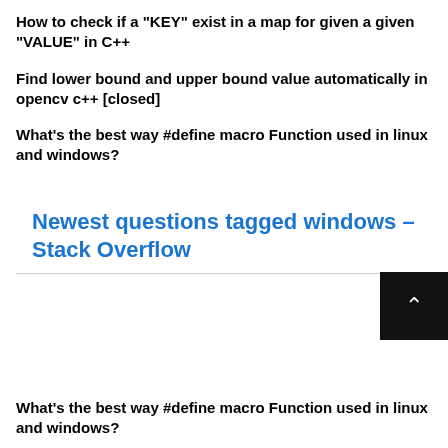How to check if a "KEY" exist in a map for given a given "VALUE" in C++
Find lower bound and upper bound value automatically in opencv c++ [closed]
What's the best way #define macro Function used in linux and windows?
Newest questions tagged windows – Stack Overflow
What's the best way #define macro Function used in linux and windows?